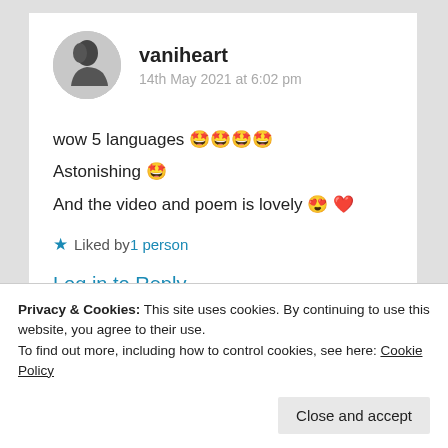[Figure (photo): Circular avatar of a person in black and white, side profile facing left]
vaniheart
14th May 2021 at 6:02 pm
wow 5 languages 😮😮😮😮
Astonishing 😮
And the video and poem is lovely 😍 ❤
★ Liked by 1 person
Log in to Reply
Privacy & Cookies: This site uses cookies. By continuing to use this website, you agree to their use.
To find out more, including how to control cookies, see here: Cookie Policy
Close and accept